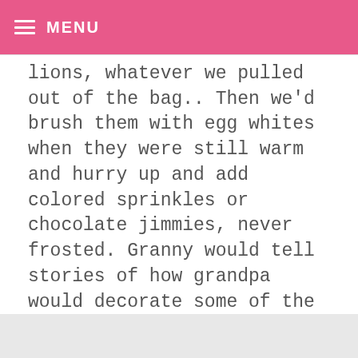MENU
lions, whatever we pulled out of the bag.. Then we'd brush them with egg whites when they were still warm and hurry up and add colored sprinkles or chocolate jimmies, never frosted. Granny would tell stories of how grandpa would decorate some of the cookies. They had fun. When I got married – she gave me her bag of cookie cutters, I would haul them to my mom and dad's every year and all 3 of us would bake.